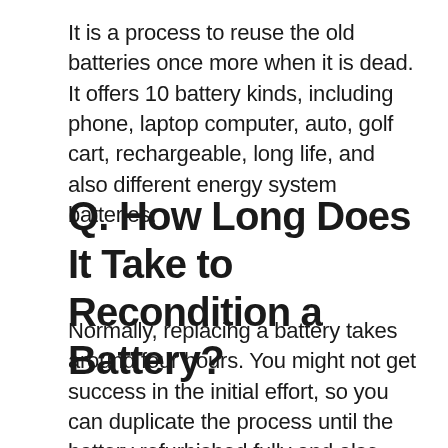It is a process to reuse the old batteries once more when it is dead. It offers 10 battery kinds, including phone, laptop computer, auto, golf cart, rechargeable, long life, and also different energy system batteries.
Q. How Long Does It Take to Recondition a Battery?
Normally, replacing a battery takes around four hours. You might not get success in the initial effort, so you can duplicate the process until the battery refurbished fully and also obtain back to its original condition. Yet you will need to keep